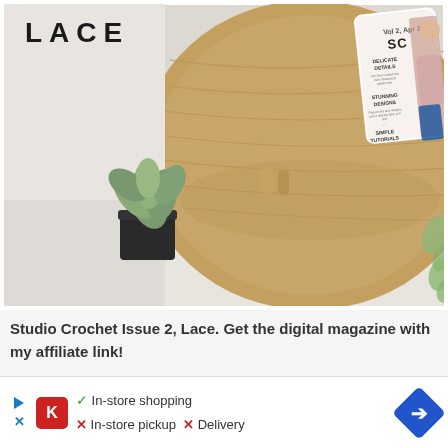[Figure (photo): Photo of a digital tablet showing the Studio Crochet Issue 2 Lace magazine cover, placed on a wooden round table with a succulent plant and cork objects. Text 'LACE' visible in upper left. Magazine cover shows sections: Delicate Details, Stunning Designs, Simple Tutorials, and a woman wearing a pink lace crochet shrug.]
Studio Crochet Issue 2, Lace. Get the digital magazine with my affiliate link!
[Figure (infographic): Advertisement banner with Kroger logo (red K icon), play button icon, X icon, checkmark for In-store shopping, X mark for In-store pickup, X mark for Delivery, and a blue diamond arrow icon on the right.]